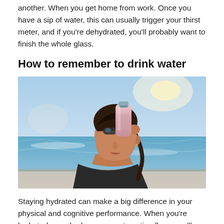another. When you get home from work. Once you have a sip of water, this can usually trigger your thirst meter, and if you're dehydrated, you'll probably want to finish the whole glass.
How to remember to drink water
[Figure (photo): A young woman with dark hair in a braid, wearing sunglasses pushed up, drinking from a pink water bottle at a beach with ocean and sky in the background.]
Staying hydrated can make a big difference in your physical and cognitive performance. When you're hydrated, your body can operate optimally — you'll have maximum strength and stamina for your